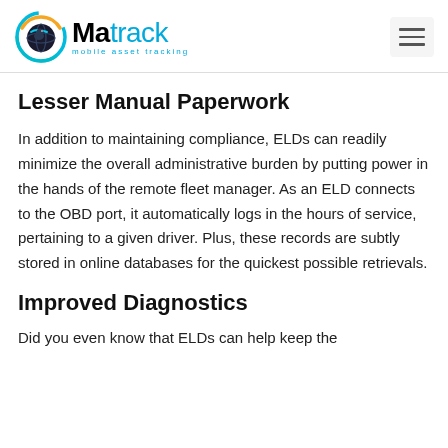Matrack — mobile asset tracking
Lesser Manual Paperwork
In addition to maintaining compliance, ELDs can readily minimize the overall administrative burden by putting power in the hands of the remote fleet manager. As an ELD connects to the OBD port, it automatically logs in the hours of service, pertaining to a given driver. Plus, these records are subtly stored in online databases for the quickest possible retrievals.
Improved Diagnostics
Did you even know that ELDs can help keep the